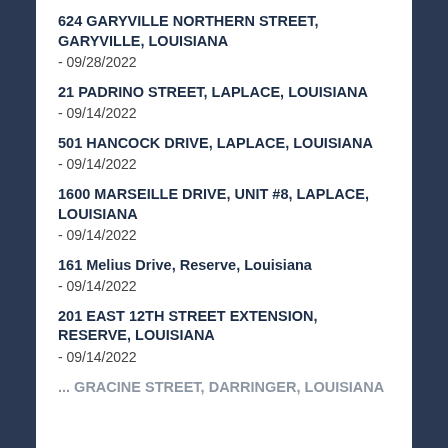624 GARYVILLE NORTHERN STREET, GARYVILLE, LOUISIANA
- 09/28/2022
21 PADRINO STREET, LAPLACE, LOUISIANA
- 09/14/2022
501 HANCOCK DRIVE, LAPLACE, LOUISIANA
- 09/14/2022
1600 MARSEILLE DRIVE, UNIT #8, LAPLACE, LOUISIANA
- 09/14/2022
161 Melius Drive, Reserve, Louisiana
- 09/14/2022
201 EAST 12TH STREET EXTENSION, RESERVE, LOUISIANA
- 09/14/2022
... GRACINE STREET, DARRINGER, LOUISIANA